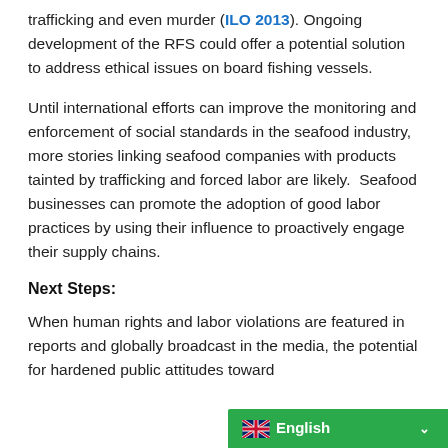trafficking and even murder (ILO 2013). Ongoing development of the RFS could offer a potential solution to address ethical issues on board fishing vessels.
Until international efforts can improve the monitoring and enforcement of social standards in the seafood industry, more stories linking seafood companies with products tainted by trafficking and forced labor are likely. Seafood businesses can promote the adoption of good labor practices by using their influence to proactively engage their supply chains.
Next Steps:
When human rights and labor violations are featured in reports and globally broadcast in the media, the potential for hardened public attitudes toward